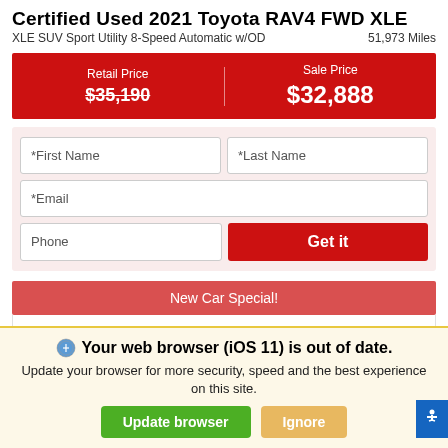Certified Used 2021 Toyota RAV4 FWD XLE
XLE SUV Sport Utility 8-Speed Automatic w/OD    51,973 Miles
Retail Price $35,190  |  Sale Price $32,888
*First Name  *Last Name
*Email
Phone  Get it
New Car Special!
Your web browser (iOS 11) is out of date. Update your browser for more security, speed and the best experience on this site.
Update browser  Ignore